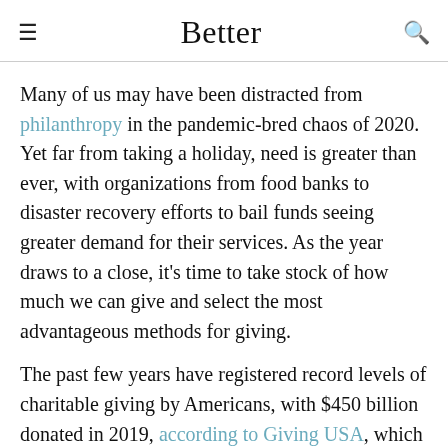Better
Many of us may have been distracted from philanthropy in the pandemic-bred chaos of 2020. Yet far from taking a holiday, need is greater than ever, with organizations from food banks to disaster recovery efforts to bail funds seeing greater demand for their services. As the year draws to a close, it’s time to take stock of how much we can give and select the most advantageous methods for giving.
The past few years have registered record levels of charitable giving by Americans, with $450 billion donated in 2019, according to Giving USA, which publishes an annual report of philanthropy in the U.S. based on research by the Indiana University Lilly